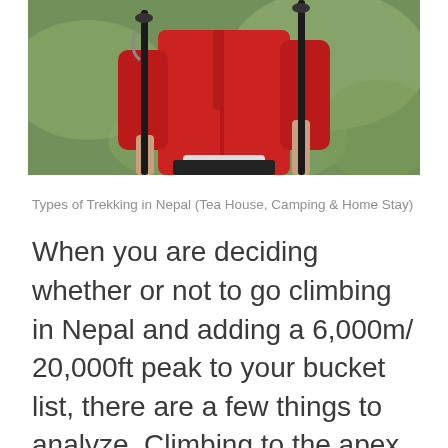[Figure (photo): A person in a red jacket holding trekking poles, with a green blurred background. The lower portion of the body and hands are visible.]
Types of Trekking in Nepal (Tea House, Camping & Home Stay)
When you are deciding whether or not to go climbing in Nepal and adding a 6,000m/20,000ft peak to your bucket list, there are a few things to analyze. Climbing to the apex of a Himalayan peak is considerably more